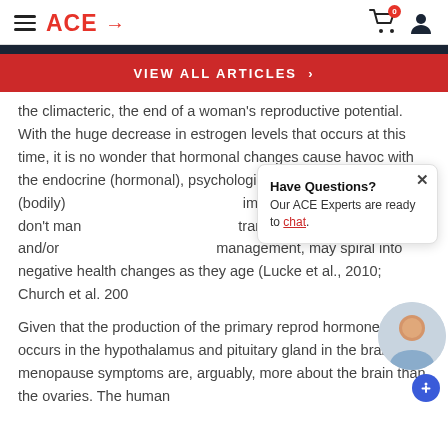ACE → [navigation header with cart and user icon]
VIEW ALL ARTICLES ›
the climacteric, the end of a woman's reproductive potential. With the huge decrease in estrogen levels that occurs at this time, it is no wonder that hormonal changes cause havoc with the endocrine (hormonal), psychological and somatic (bodily) importantly, women who don't man transition through symptom and/or management, may spiral into negative health changes as they age (Lucke et al., 2010; Church et al. 200
Given that the production of the primary reprod hormones occurs in the hypothalamus and pituitary gland in the brain, menopause symptoms are, arguably, more about the brain than the ovaries. The human